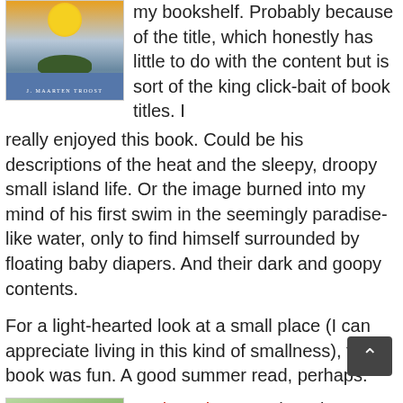[Figure (illustration): Book cover with sun, tropical island, water, author name J. MAARTEN TROOST]
my bookshelf. Probably because of the title, which honestly has little to do with the content but is sort of the king click-bait of book titles. I really enjoyed this book. Could be his descriptions of the heat and the sleepy, droopy small island life. Or the image burned into my mind of his first swim in the seemingly paradise-like water, only to find himself surrounded by floating baby diapers. And their dark and goopy contents.
For a light-hearted look at a small place (I can appreciate living in this kind of smallness), this book was fun. A good summer read, perhaps.
[Figure (illustration): Book cover for Paris to the Moon by Adam Gopnik, green tones with horse and rider silhouette]
Paris to the Moon by Adam Gopnik
A book about Paris by Adam Gopnik? Yes, please! Part memoir and part reflections on Paris as a city, this is a